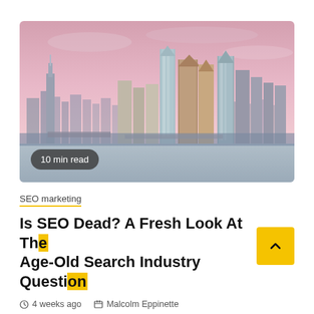[Figure (photo): City skyline photograph showing tall skyscrapers against a pink/purple sunset sky, with water in the foreground. Includes a '10 min read' badge overlay in the bottom-left corner.]
SEO marketing
Is SEO Dead? A Fresh Look At The Age-Old Search Industry Question
4 weeks ago   Malcolm Eppinette